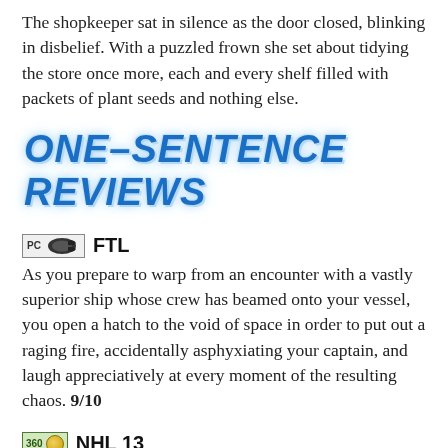The shopkeeper sat in silence as the door closed, blinking in disbelief. With a puzzled frown she set about tidying the store once more, each and every shelf filled with packets of plant seeds and nothing else.
ONE–SENTENCE REVIEWS
FTL
As you prepare to warp from an encounter with a vastly superior ship whose crew has beamed onto your vessel, you open a hatch to the void of space in order to put out a raging fire, accidentally asphyxiating your captain, and laugh appreciatively at every moment of the resulting chaos. 9/10
NHL 13
Ice to see you, I'm afraid my condition has left me cold to your please of mercy, cool party, if revenge is a dish best